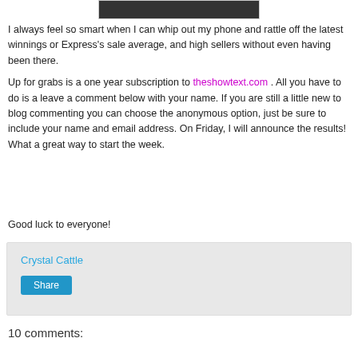[Figure (photo): Partial photo strip visible at top of page, dark background]
I always feel so smart when I can whip out my phone and rattle off the latest winnings or Express's sale average, and high sellers without even having been there.
Up for grabs is a one year subscription to theshowtext.com . All you have to do is a leave a comment below with your name. If you are still a little new to blog commenting you can choose the anonymous option, just be sure to include your name and email address. On Friday, I will announce the results! What a great way to start the week.
Good luck to everyone!
Crystal Cattle
Share
10 comments: